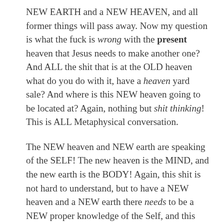NEW EARTH and a NEW HEAVEN, and all former things will pass away. Now my question is what the fuck is wrong with the present heaven that Jesus needs to make another one? And ALL the shit that is at the OLD heaven what do you do with it, have a heaven yard sale? And where is this NEW heaven going to be located at? Again, nothing but shit thinking! This is ALL Metaphysical conversation.
The NEW heaven and NEW earth are speaking of the SELF! The new heaven is the MIND, and the new earth is the BODY! Again, this shit is not hard to understand, but to have a NEW heaven and a NEW earth there needs to be a NEW proper knowledge of the Self, and this proper knowledge of Self MUST come from your OWN damn culture... no people other than SELF, can give you knowledge of yourself. That shit should be self-evident! No Arab, Mexican, European or Indian no